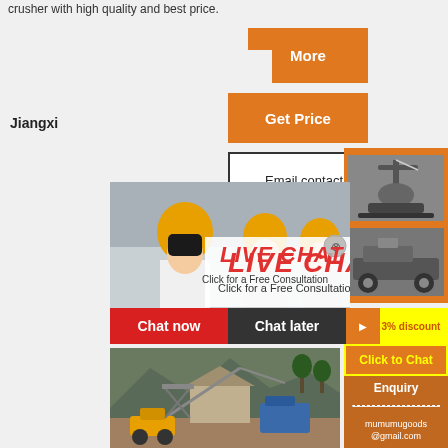crusher with high quality and best price.
More
Get Price
Jiangxi
Email contact
[Figure (photo): Industrial crusher machinery images on orange sidebar]
[Figure (photo): Workers in yellow hard hats with live chat overlay showing LIVE CHAT and Click for a Free Consultation]
LIVE CHAT
Click for a Free Consultation
Chat now
Chat later
Enjoy 3% discount
Click to Chat
Enquiry
mumumugoods@gmail.com
[Figure (photo): Outdoor quarry/mining site with machinery and equipment]